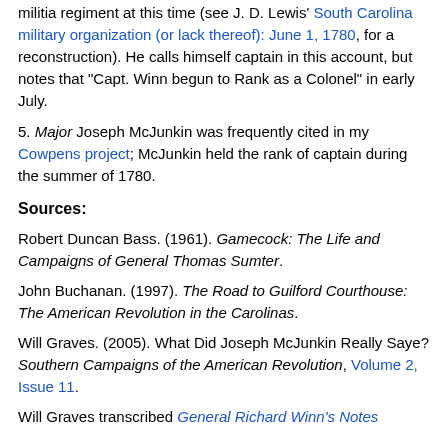militia regiment at this time (see J. D. Lewis' South Carolina military organization (or lack thereof): June 1, 1780, for a reconstruction). He calls himself captain in this account, but notes that "Capt. Winn begun to Rank as a Colonel" in early July.
5. Major Joseph McJunkin was frequently cited in my Cowpens project; McJunkin held the rank of captain during the summer of 1780.
Sources:
Robert Duncan Bass. (1961). Gamecock: The Life and Campaigns of General Thomas Sumter.
John Buchanan. (1997). The Road to Guilford Courthouse: The American Revolution in the Carolinas.
Will Graves. (2005). What Did Joseph McJunkin Really Saye? Southern Campaigns of the American Revolution, Volume 2, Issue 11.
Will Graves transcribed General Richard Winn's Notes...